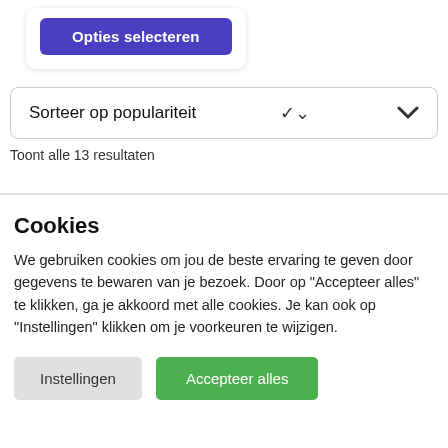[Figure (screenshot): Blue 'Opties selecteren' button inside a white rounded card]
Sorteer op populariteit
Toont alle 13 resultaten
Cookies
We gebruiken cookies om jou de beste ervaring te geven door gegevens te bewaren van je bezoek. Door op "Accepteer alles" te klikken, ga je akkoord met alle cookies. Je kan ook op "Instellingen" klikken om je voorkeuren te wijzigen.
Instellingen
Accepteer alles